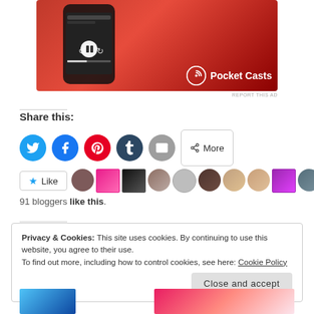[Figure (screenshot): Pocket Casts app advertisement on red background showing a smartphone with podcast player interface and Pocket Casts logo]
REPORT THIS AD
Share this:
[Figure (infographic): Social sharing buttons: Twitter, Facebook, Pinterest, Tumblr, Email, More]
[Figure (infographic): Like button and blogger avatar strip showing 91 bloggers like this]
91 bloggers like this.
Privacy & Cookies: This site uses cookies. By continuing to use this website, you agree to their use. To find out more, including how to control cookies, see here: Cookie Policy
[Figure (screenshot): Bottom partial images of two articles/posts]